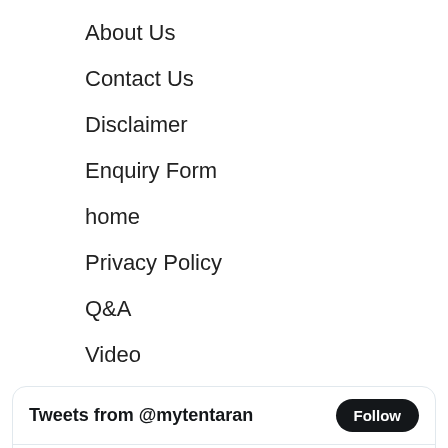About Us
Contact Us
Disclaimer
Enquiry Form
home
Privacy Policy
Q&A
Video
[Figure (screenshot): Twitter widget showing 'Tweets from @mytentaran' with a Follow button, and a tweet from Tentaran.com @mytentaran 8h asking 'Who is The Most Entertaining Indian TV Actress 2022? Vote Here :- tentaran.com/most-entertain...']